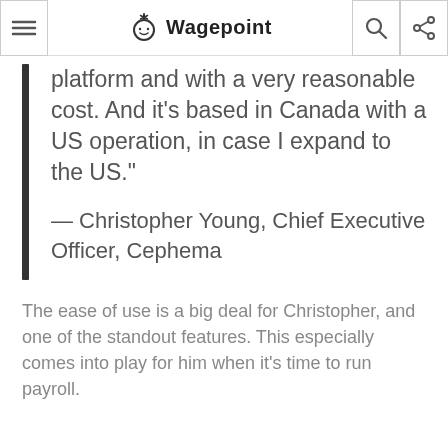Wagepoint
platform and with a very reasonable cost. And it's based in Canada with a US operation, in case I expand to the US."
— Christopher Young, Chief Executive Officer, Cephema
The ease of use is a big deal for Christopher, and one of the standout features. This especially comes into play for him when it's time to run payroll.